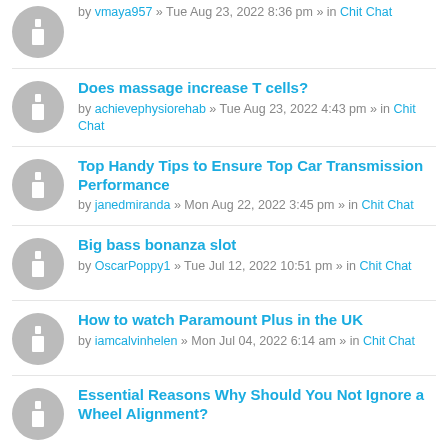by vmaya957 » Tue Aug 23, 2022 8:36 pm » in Chit Chat
Does massage increase T cells? by achievephysiorehab » Tue Aug 23, 2022 4:43 pm » in Chit Chat
Top Handy Tips to Ensure Top Car Transmission Performance by janedmiranda » Mon Aug 22, 2022 3:45 pm » in Chit Chat
Big bass bonanza slot by OscarPoppy1 » Tue Jul 12, 2022 10:51 pm » in Chit Chat
How to watch Paramount Plus in the UK by iamcalvinhelen » Mon Jul 04, 2022 6:14 am » in Chit Chat
Essential Reasons Why Should You Not Ignore a Wheel Alignment?